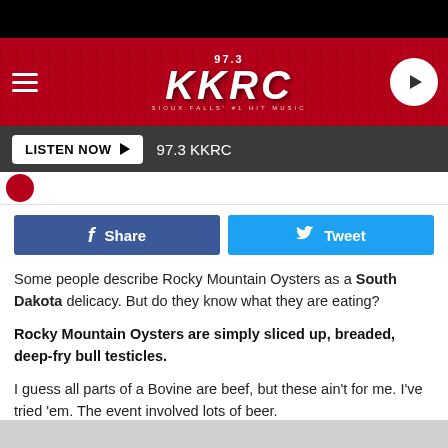[Figure (screenshot): 97.3 KKRC radio station banner with red background, hamburger menu icon on left, KKRC logo in center, play button circle on right]
LISTEN NOW ▶  97.3 KKRC
[Figure (screenshot): Social sharing buttons: Facebook Share button (blue) and Tweet button (light blue)]
Some people describe Rocky Mountain Oysters as a South Dakota delicacy. But do they know what they are eating?
Rocky Mountain Oysters are simply sliced up, breaded, deep-fry bull testicles.
I guess all parts of a Bovine are beef, but these ain't for me. I've tried 'em.  The event involved lots of beer.